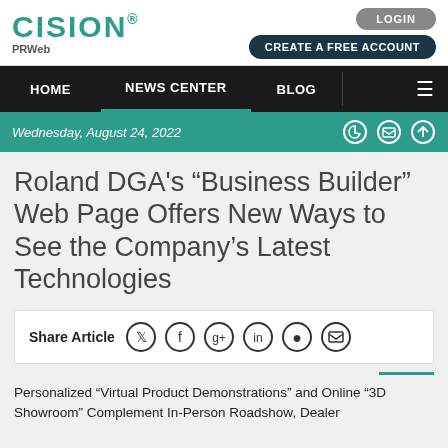CISION PRWeb — LOGIN | CREATE A FREE ACCOUNT
HOME | NEWS CENTER | BLOG
Wednesday, August 24, 2022
Roland DGA's “Business Builder” Web Page Offers New Ways to See the Company’s Latest Technologies
Share Article
Personalized “Virtual Product Demonstrations” and Online “3D Showroom” Complement In-Person Roadshow, Dealer